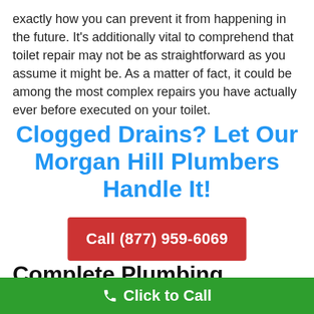exactly how you can prevent it from happening in the future. It's additionally vital to comprehend that toilet repair may not be as straightforward as you assume it might be. As a matter of fact, it could be among the most complex repairs you have actually ever before executed on your toilet.
Clogged Drains? Let Our Morgan Hill Plumbers Handle It!
Call (877) 959-6069
Complete Plumbing Services
Our Morgan Hill plumbing contractors can offer various
Click to Call